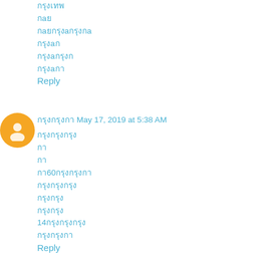กรุงเทพ
กaย
กaยกรุงa
กรุงa
กรุงaกรุง
กรุงกa
Reply
กรุงกรุงกา May 17, 2019 at 5:38 AM
กรุงกรุงกา
กา
กา
กา60กรุงกรุงกา
กรุงกรุงกา
กรุงกรุง
กรุงกรุง
14กรุงกรุงกา
กรุงกรุงกา
Reply